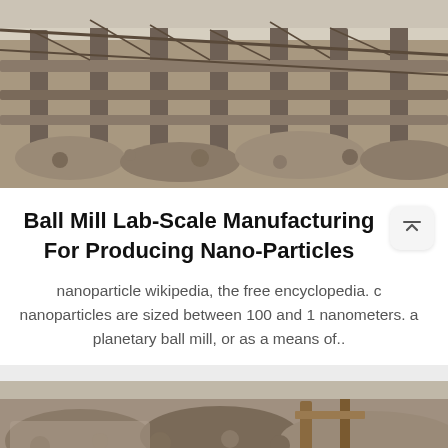[Figure (photo): Aerial or elevated view of industrial ball mill or mining/crushing equipment facility with conveyor structures and rocky material.]
Ball Mill Lab-Scale Manufacturing For Producing Nano-Particles
nanoparticle wikipedia, the free encyclopedia. c nanoparticles are sized between 100 and 1 nanometers. a planetary ball mill, or as a means of..
[Figure (photo): Close-up photo of stones, gravel and wooden structures, possibly related to a quarry or construction site.]
leave message
Inquiry Online